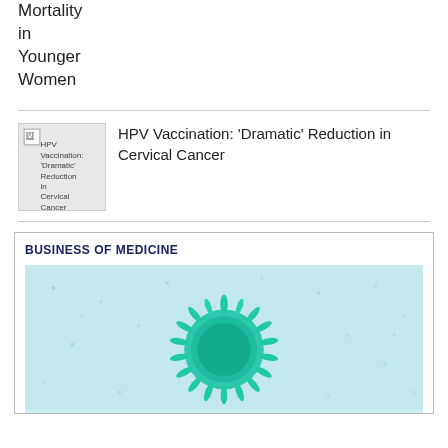Mortality
in
Younger
Women
[Figure (photo): Thumbnail image placeholder for HPV Vaccination article with broken image icon and alt text]
HPV Vaccination: 'Dramatic' Reduction in Cervical Cancer
BUSINESS OF MEDICINE
[Figure (photo): Microscopic image of a teal/green virus particle on a light blue background]